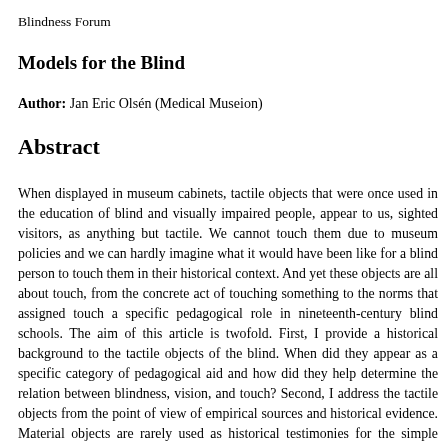Blindness Forum
Models for the Blind
Author: Jan Eric Olsén (Medical Museion)
Abstract
When displayed in museum cabinets, tactile objects that were once used in the education of blind and visually impaired people, appear to us, sighted visitors, as anything but tactile. We cannot touch them due to museum policies and we can hardly imagine what it would have been like for a blind person to touch them in their historical context. And yet these objects are all about touch, from the concrete act of touching something to the norms that assigned touch a specific pedagogical role in nineteenth-century blind schools. The aim of this article is twofold. First, I provide a historical background to the tactile objects of the blind. When did they appear as a specific category of pedagogical aid and how did they help determine the relation between blindness, vision, and touch? Second, I address the tactile objects from the point of view of empirical sources and historical evidence. Material objects are rarely used as historical testimonies for the simple reason that they, unlike archival material, do not present historians with written